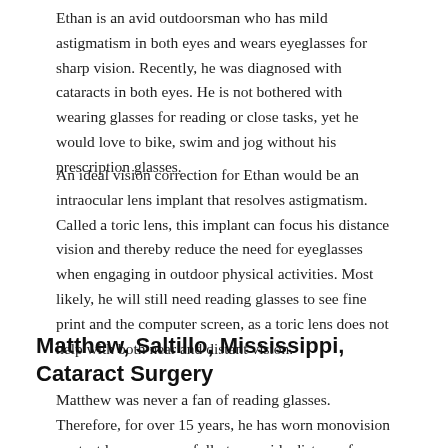Ethan is an avid outdoorsman who has mild astigmatism in both eyes and wears eyeglasses for sharp vision. Recently, he was diagnosed with cataracts in both eyes. He is not bothered with wearing glasses for reading or close tasks, yet he would love to bike, swim and jog without his prescription glasses.
An ideal vision correction for Ethan would be an intraocular lens implant that resolves astigmatism. Called a toric lens, this implant can focus his distance vision and thereby reduce the need for eyeglasses when engaging in outdoor physical activities. Most likely, he will still need reading glasses to see fine print and the computer screen, as a toric lens does not help with both near and distant vision.
Matthew, Saltillo, Mississippi, Cataract Surgery
Matthew was never a fan of reading glasses. Therefore, for over 15 years, he has worn monovision contact lenses successfully to provide distance for presbyopia. Monovision lenses correct one eye for distance and one eye for near vision. After his cataract